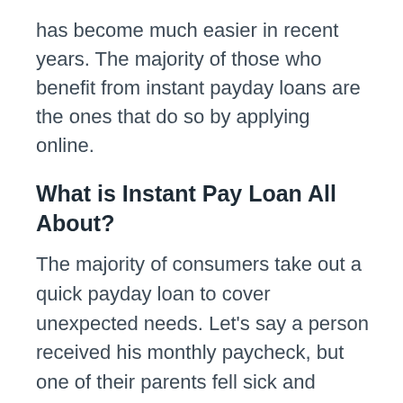has become much easier in recent years. The majority of those who benefit from instant payday loans are the ones that do so by applying online.
What is Instant Pay Loan All About?
The majority of consumers take out a quick payday loan to cover unexpected needs. Let's say a person received his monthly paycheck, but one of their parents fell sick and required instant medical attention, and this person did not have health insurance in place for the parents. In this very case, they can rely on the rapid payday loan provider to get money as soon as possible. Nonetheless, you should